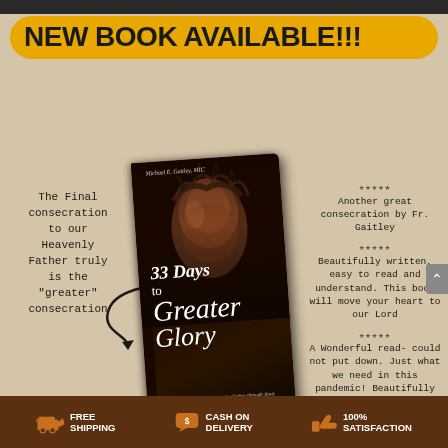NEW BOOK AVAILABLE!!!
[Figure (illustration): Book cover of '33 Days to Greater Glory' by Michael E. Gaitley, MIC, showing a close-up of a face with crown of thorns]
The Final consecration to our Heavenly Father truly is the "greater" consecration
★★★★★
Another great consecration by Fr. Gaitley
★★★★★
Beautifully written, easy to read and understand. This book will move your heart to our Lord
★★★★★
A Wonderful read- could not put down. Just what we need in this pandemic! Beautifully written and touched my heart.
FREE SHIPPING   CASH ON DELIVERY   100% SATISFACTION